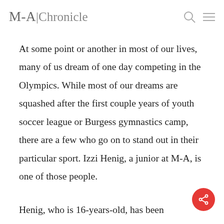M-A Chronicle
At some point or another in most of our lives, many of us dream of one day competing in the Olympics. While most of our dreams are squashed after the first couple years of youth soccer league or Burgess gymnastics camp, there are a few who go on to stand out in their particular sport. Izzi Henig, a junior at M-A, is one of those people.
Henig, who is 16-years-old, has been swimming since she was four, when she